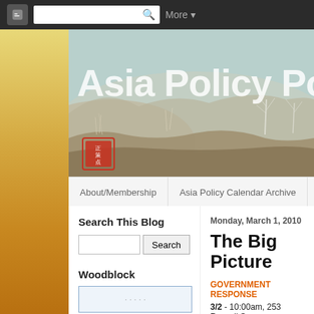[Figure (screenshot): Blogger top navigation bar with search box and More dropdown]
[Figure (illustration): Asia Policy Point blog header banner with Asian watercolor landscape painting and blog title text]
About/Membership
Asia Policy Calendar Archive
Japa
Search This Blog
Woodblock
Monday, March 1, 2010
The Big Picture
GOVERNMENT RESPONSE
3/2 - 10:00am, 253 Russell S